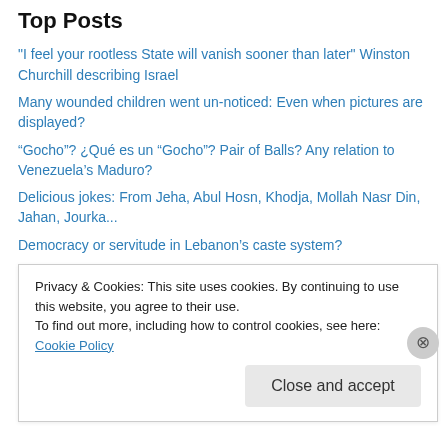Top Posts
"I feel your rootless State will vanish sooner than later" Winston Churchill describing Israel
Many wounded children went un-noticed: Even when pictures are displayed?
“Gocho”? ¿Qué es un “Gocho”? Pair of Balls? Any relation to Venezuela’s Maduro?
Delicious jokes: From Jeha, Abul Hosn, Khodja, Mollah Nasr Din, Jahan, Jourka...
Democracy or servitude in Lebanon’s caste system?
High-Tech achievement in "Prehistoric" civilization? Why this label of prehistoric if at a par with current technologies?
Henry Miller’s purely porno book
Privacy & Cookies: This site uses cookies. By continuing to use this website, you agree to their use.
To find out more, including how to control cookies, see here: Cookie Policy
Close and accept